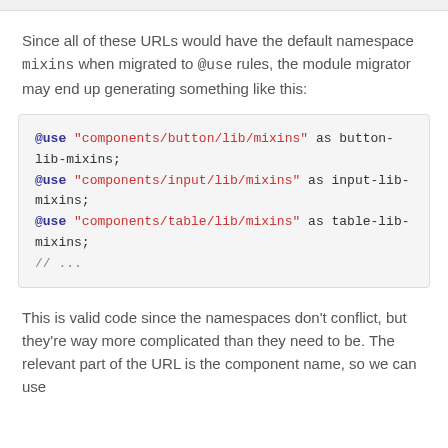Since all of these URLs would have the default namespace mixins when migrated to @use rules, the module migrator may end up generating something like this:
@use "components/button/lib/mixins" as button-lib-mixins;
@use "components/input/lib/mixins" as input-lib-mixins;
@use "components/table/lib/mixins" as table-lib-mixins;
// ...
This is valid code since the namespaces don't conflict, but they're way more complicated than they need to be. The relevant part of the URL is the component name, so we can use